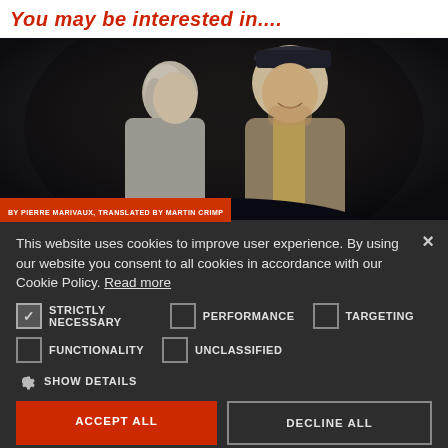You may be interested in....
[Figure (photo): Two theatre actors in period costume — a woman in grey coat and a man in a cap, smiling at each other closely on stage with dark background]
BY PIERRE MARIVAUX, TRANSLATED BY MARTIN CRIMP
This website uses cookies to improve user experience. By using our website you consent to all cookies in accordance with our Cookie Policy. Read more
STRICTLY NECESSARY
PERFORMANCE
TARGETING
FUNCTIONALITY
UNCLASSIFIED
SHOW DETAILS
ACCEPT ALL
DECLINE ALL